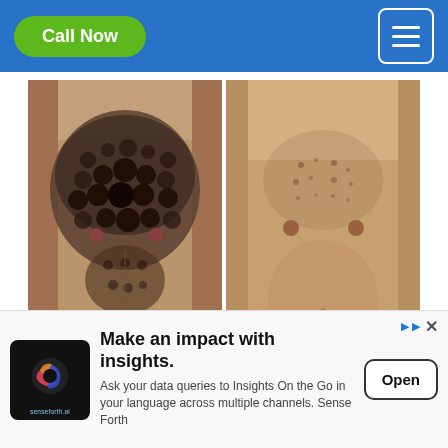Call Now | Menu
[Figure (photo): Before and after comparison: left photo shows a man's torso with dense dark chest and body hair; right photo shows the same or similar man's torso with significantly reduced chest hair after laser hair removal treatment.]
only men between men also have hair on...
[Figure (infographic): Advertisement banner for senseforth.ai: 'Make an impact with insights. Ask your data queries to Insights On the Go in your language across multiple channels. Sense Forth' with an Open button.]